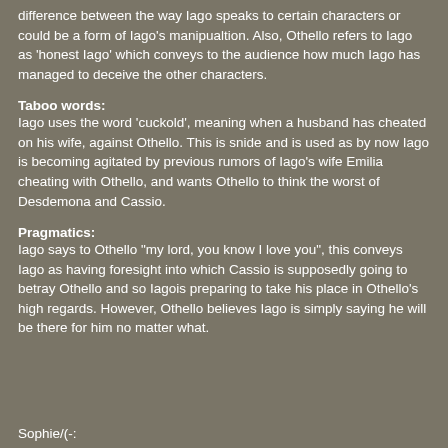difference between the way Iago speaks to certain characters or could be a form of Iago's manipualtion. Also, Othello refers to Iago as 'honest Iago' which conveys to the audience how much Iago has managed to deceive the other characters.
Taboo words:
Iago uses the word 'cuckold', meaning when a husband has cheated on his wife, against Othello. This is snide and is used as by now Iago is becoming agitated by previous rumors of Iago's wife Emilia cheating with Othello, and wants Othello to think the worst of Desdemona and Cassio.
Pragmatics:
Iago says to Othello "my lord, you know I love you", this conveys Iago as having foresight into which Cassio is supposedly going to betray Othello and so Iagois preparing to take his place in Othello's high regards. However, Othello believes Iago is simply saying he will be there for him no matter what.
Sophie/(-: